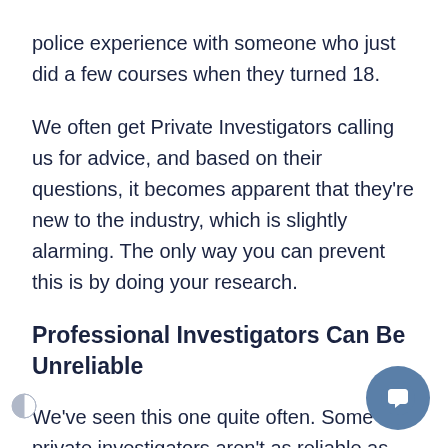police experience with someone who just did a few courses when they turned 18.
We often get Private Investigators calling us for advice, and based on their questions, it becomes apparent that they're new to the industry, which is slightly alarming. The only way you can prevent this is by doing your research.
Professional Investigators Can Be Unreliable
We've seen this one quite often. Some private investigators aren't as reliable as you need them to be, especially considering the money you're spending and the nature of their work. Getting